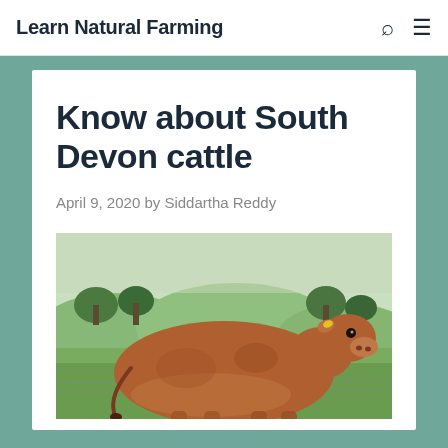Learn Natural Farming
Know about South Devon cattle
April 9, 2020 by Siddartha Reddy
[Figure (photo): A brown South Devon cow standing in a green field with trees and countryside in the background]